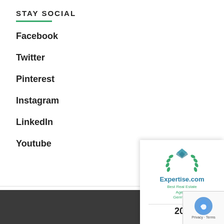STAY SOCIAL
Facebook
Twitter
Pinterest
Instagram
LinkedIn
Youtube
[Figure (logo): Expertise.com badge showing Best Real Estate Agents with teal diamond logo and laurel wreath, year 202x]